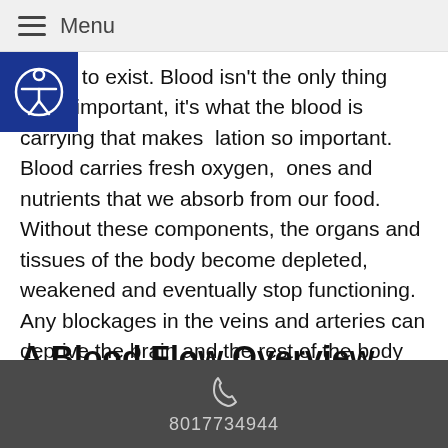Menu
cease to exist. Blood isn't the only thing that's important, it's what the blood is carrying that makes circulation so important. Blood carries fresh oxygen, hormones and nutrients that we absorb from our food. Without these components, the organs and tissues of the body become depleted, weakened and eventually stop functioning. Any blockages in the veins and arteries can deprive the brain and the rest of the body from the needed oxygen, which can then lead to a plethora of other medical issues.
A Blood Flow Overview
Poor circulation is a problem that affects thousands of people around the world, and  decreased circulation is
8017734944